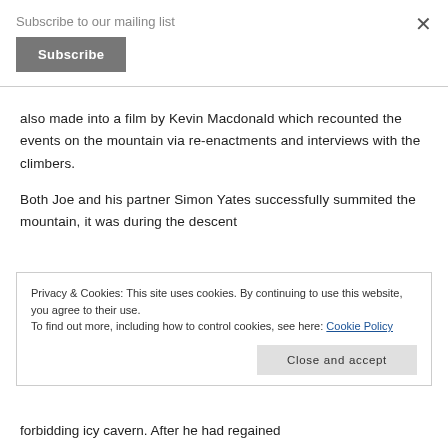Subscribe to our mailing list
Subscribe
also made into a film by Kevin Macdonald which recounted the events on the mountain via re-enactments and interviews with the climbers.
Both Joe and his partner Simon Yates successfully summited the mountain, it was during the descent
Privacy & Cookies: This site uses cookies. By continuing to use this website, you agree to their use.
To find out more, including how to control cookies, see here: Cookie Policy
Close and accept
forbidding icy cavern. After he had regained